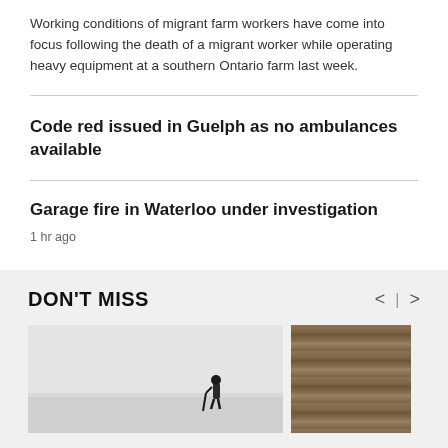Working conditions of migrant farm workers have come into focus following the death of a migrant worker while operating heavy equipment at a southern Ontario farm last week.
Code red issued in Guelph as no ambulances available
Garage fire in Waterloo under investigation
1 hr ago
DON'T MISS
[Figure (photo): Person on ice with a pole, misty/grey background over water]
[Figure (photo): Close-up of wood or bark texture]